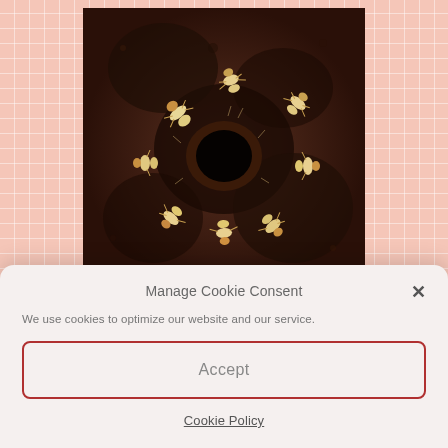[Figure (photo): Close-up macro photograph of termites crawling around a dark hole in wood or soil, showing multiple pale/cream-colored termites with orange-brown heads]
Manage Cookie Consent
We use cookies to optimize our website and our service.
Accept
Cookie Policy